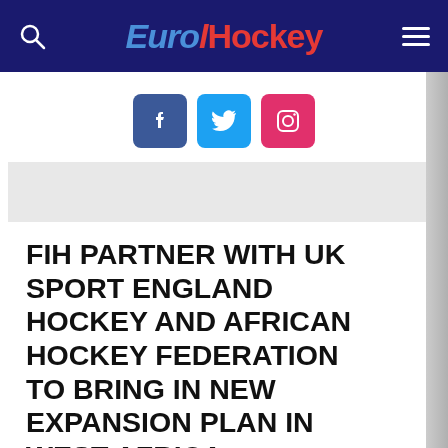EuroHockey
[Figure (logo): Social media icons: Facebook, Twitter, Instagram]
FIH PARTNER WITH UK SPORT ENGLAND HOCKEY AND AFRICAN HOCKEY FEDERATION TO BRING IN NEW EXPANSION PLAN IN WEST AFRICA